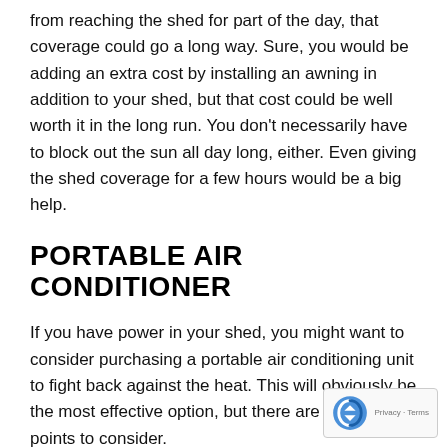from reaching the shed for part of the day, that coverage could go a long way. Sure, you would be adding an extra cost by installing an awning in addition to your shed, but that cost could be well worth it in the long run. You don't necessarily have to block out the sun all day long, either. Even giving the shed coverage for a few hours would be a big help.
PORTABLE AIR CONDITIONER
If you have power in your shed, you might want to consider purchasing a portable air conditioning unit to fight back against the heat. This will obviously be the most effective option, but there are a couple of points to consider.
First, you'll have to have sufficient power available the shed. Remember, a portable A/C unit can draw a